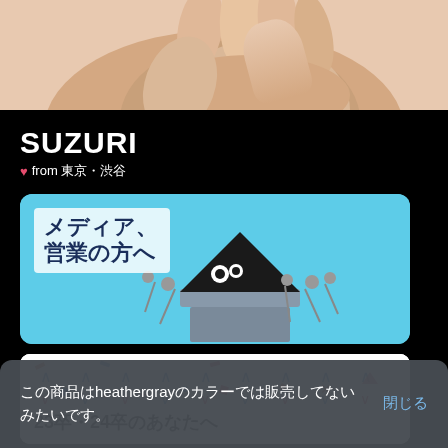[Figure (photo): Hand photo at top of screen]
SUZURI
♥from 東京・渋谷
[Figure (illustration): Banner image: メディア、営業の方へ - light blue banner with mascot character at microphones press conference]
[Figure (illustration): Banner image: 23卒・24卒のあなたへ - white banner with colorful confetti pattern]
この商品はheathergrayのカラーでは販売してないみたいです。
閉じる